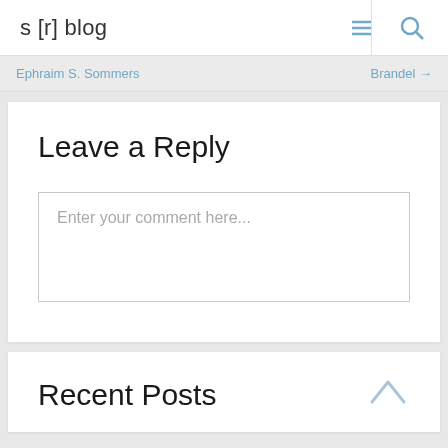s [r] blog
Ephraim S. Sommers
Brandel →
Leave a Reply
Enter your comment here...
Recent Posts